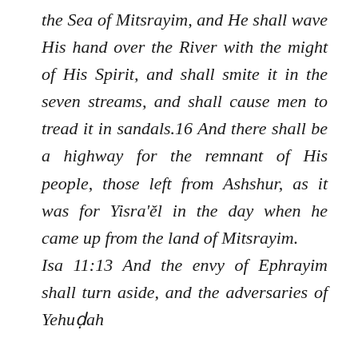the Sea of Mitsrayim, and He shall wave His hand over the River with the might of His Spirit, and shall smite it in the seven streams, and shall cause men to tread it in sandals.16 And there shall be a highway for the remnant of His people, those left from Ashshur, as it was for Yisra'ěl in the day when he came up from the land of Mitsrayim.
Isa 11:13 And the envy of Ephrayim shall turn aside, and the adversaries of Yehuḏah